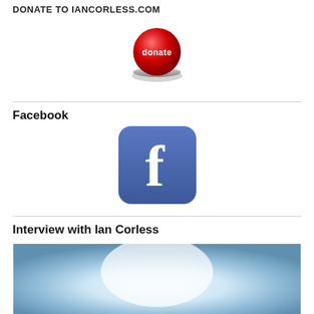DONATE TO IANCORLESS.COM
[Figure (illustration): Red donate button with silver rim and white 'donate' text]
[Figure (logo): Facebook logo icon — blue rounded square with white lowercase f]
Facebook
Interview with Ian Corless
[Figure (photo): Blue and white glowing light background, partial image cropped at bottom of page]